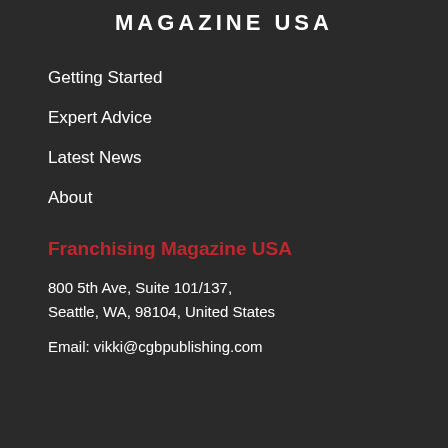MAGAZINE USA
Getting Started
Expert Advice
Latest News
About
Franchising Magazine USA
800 5th Ave, Suite 101/137,
Seattle, WA, 98104, United States
Email: vikki@cgbpublishing.com